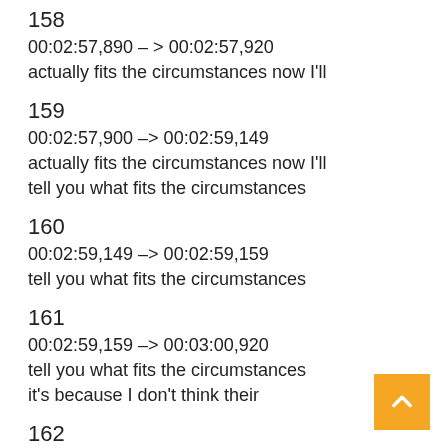158
00:02:57,890 --> 00:02:57,920
actually fits the circumstances now I'll
159
00:02:57,900 --> 00:02:59,149
actually fits the circumstances now I'll
tell you what fits the circumstances
160
00:02:59,149 --> 00:02:59,159
tell you what fits the circumstances
161
00:02:59,159 --> 00:03:00,920
tell you what fits the circumstances
it's because I don't think their
162
00:03:00,920 --> 00:03:00,930